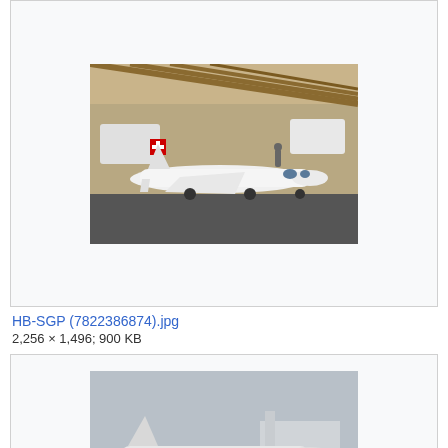[Figure (photo): Photo of a small white aircraft inside an exhibition hangar with wooden roof structure, taken at an airshow. Aircraft is on the ground.]
HB-SGP (7822386874).jpg
2,256 × 1,496; 900 KB
[Figure (photo): Photo of a business jet aircraft parked outside on a tarmac on an overcast day, with a sign visible in front of it.]
HB-VOS (7822413964).jpg
2,256 × 1,496; 911 KB